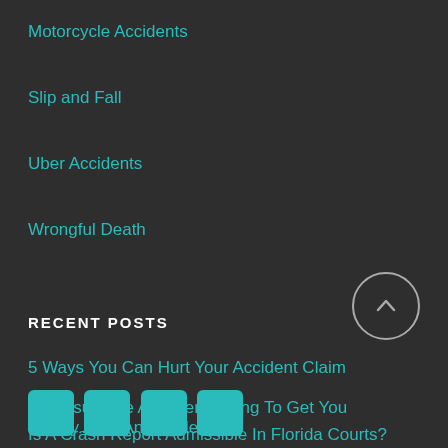Motorcycle Accidents
Slip and Fall
Uber Accidents
Wrongful Death
RECENT POSTS
5 Ways You Can Hurt Your Accident Claim
Are Insurance Adjusters Trying To Get You Money After An Accident?
Is A Crash Report Admissible In Florida Courts?